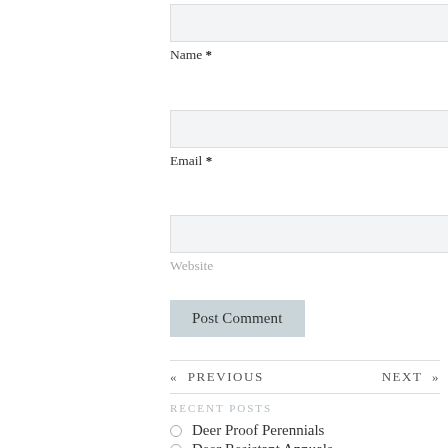Name *
Email *
Website
Post Comment
« PREVIOUS
NEXT »
RECENT POSTS
Deer Proof Perennials
Deer Resistant Annuals